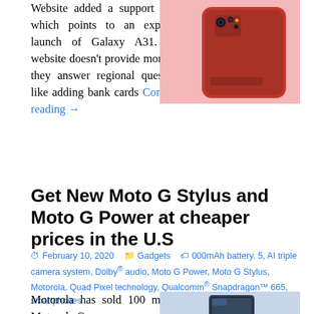Website added a support page, which points to an expected launch of Galaxy A31. The website doesn't provide more but they answer regional questions like adding bank cards Continue reading →
[Figure (photo): Red Samsung Galaxy A31 smartphone on a pink background, showing the back of the device with a camera module]
Get New Moto G Stylus and Moto G Power at cheaper prices in the U.S
February 10, 2020   Gadgets   000mAh battery, 5, AI triple camera system, Dolby® audio, Moto G Power, Moto G Stylus, Motorola, Quad Pixel technology, Qualcomm® Snapdragon™ 665, smartphones
Motorola has sold 100 million Motorola G...
[Figure (photo): Motorola smartphone on a dark background]